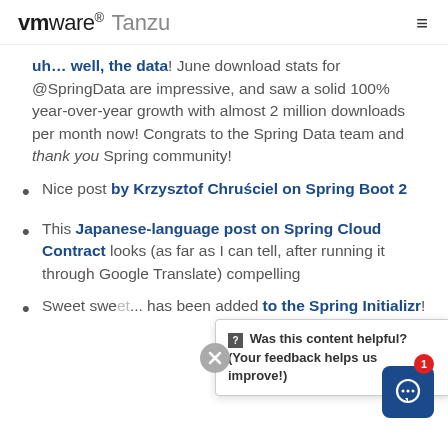vmware Tanzu
uh... well, the data! June download stats for @SpringData are impressive, and saw a solid 100% year-over-year growth with almost 2 million downloads per month now! Congrats to the Spring Data team and thank you Spring community!
Nice post by Krzysztof Chrusciel on Spring Boot 2
This Japanese-language post on Spring Cloud Contract looks (as far as I can tell, after running it through Google Translate) compelling
Sweet sweet... has been added to the Spring Initializr!
Was this content helpful? (Your feedback helps us improve!)